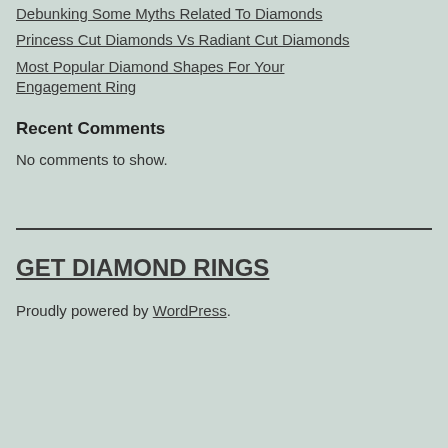Debunking Some Myths Related To Diamonds
Princess Cut Diamonds Vs Radiant Cut Diamonds
Most Popular Diamond Shapes For Your Engagement Ring
Recent Comments
No comments to show.
GET DIAMOND RINGS
Proudly powered by WordPress.